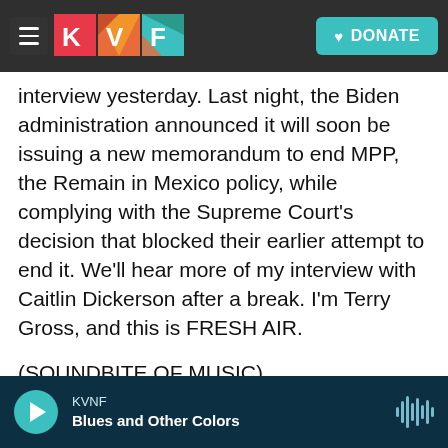[Figure (screenshot): KVNF radio website navigation bar with hamburger menu, KVNF logo, and teal DONATE button with heart icon]
interview yesterday. Last night, the Biden administration announced it will soon be issuing a new memorandum to end MPP, the Remain in Mexico policy, while complying with the Supreme Court's decision that blocked their earlier attempt to end it. We'll hear more of my interview with Caitlin Dickerson after a break. I'm Terry Gross, and this is FRESH AIR.
(SOUNDBITE OF MUSIC)
GROSS: This is FRESH AIR. I'm Terry Gross. Let's get back to my interview with Caitlin Dickerson. We're talking about immigration, the history of
KVNF  Blues and Other Colors